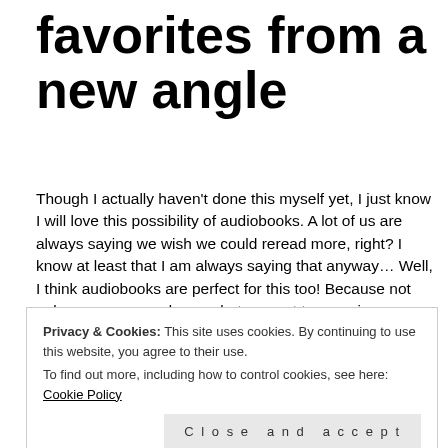favorites from a new angle
Though I actually haven't done this myself yet, I just know I will love this possibility of audiobooks. A lot of us are always saying we wish we could reread more, right? I know at least that I am always saying that anyway… Well, I think audiobooks are perfect for this too! Because not only can you reread more, but you get to experience an old favorite in a new way. So it's kiiind of like experiencing it for the first time, which is just brilliant and something we all want for sure!
Privacy & Cookies: This site uses cookies. By continuing to use this website, you agree to their use.
To find out more, including how to control cookies, see here: Cookie Policy
Close and accept